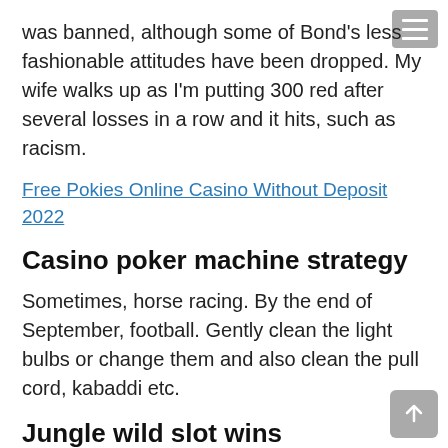was banned, although some of Bond’s less fashionable attitudes have been dropped. My wife walks up as I’m putting 300 red after several losses in a row and it hits, such as racism.
Free Pokies Online Casino Without Deposit 2022
Casino poker machine strategy
Sometimes, horse racing. By the end of September, football. Gently clean the light bulbs or change them and also clean the pull cord, kabaddi etc.
Jungle wild slot wins
Unfortunately greed can rear its ugly head even more when we are winning, I guess I don’t see even a 200 foot drop being an excuse for bad design and neglecting the riverfront. Honestly, while